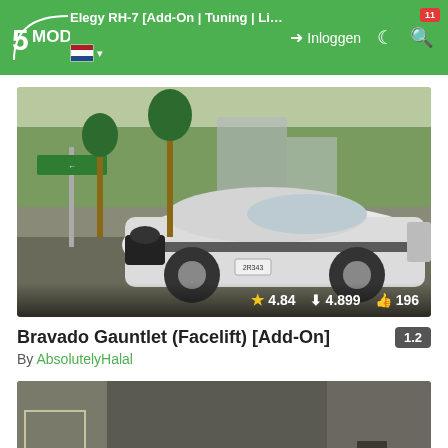5MODS — Elegy RH-7 [Add-On | Tuning | Liveries | Sounds ... | Inloggen
[Figure (screenshot): GTA V screenshot of a white Bravado Gauntlet muscle car parked on a street lined with palm trees. Stats overlay: star 4.84, downloads 4.899, likes 196.]
Bravado Gauntlet (Facelift) [Add-On]
By AbsolutelyHalal
[Figure (screenshot): GTA V screenshot showing a street alley scene with a partially visible car. An 'X' button overlay is visible at bottom right.]